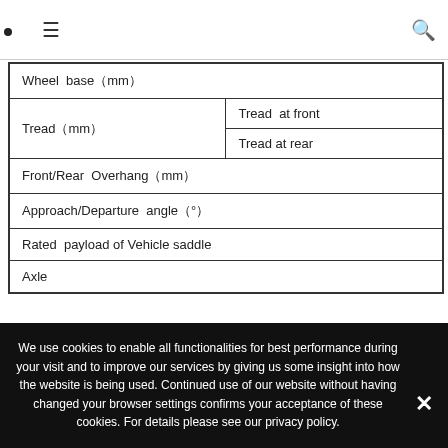≡  🔍
| Wheel base（mm） |
| Tread（mm） | Tread at front |
|  | Tread at rear |
| Front/Rear Overhang（mm） |
| Approach/Departure angle（°） |
| Rated payload of Vehicle saddle |
| Axle |
We use cookies to enable all functionalities for best performance during your visit and to improve our services by giving us some insight into how the website is being used. Continued use of our website without having changed your browser settings confirms your acceptance of these cookies. For details please see our privacy policy.